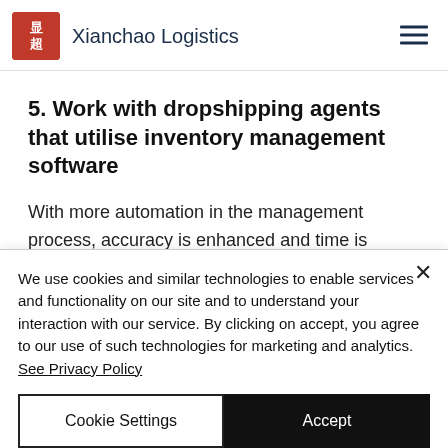Xianchao Logistics
5. Work with dropshipping agents that utilise inventory management software
With more automation in the management process, accuracy is enhanced and time is saved. For instance, at Xianchao Logistics, we use
We use cookies and similar technologies to enable services and functionality on our site and to understand your interaction with our service. By clicking on accept, you agree to our use of such technologies for marketing and analytics. See Privacy Policy